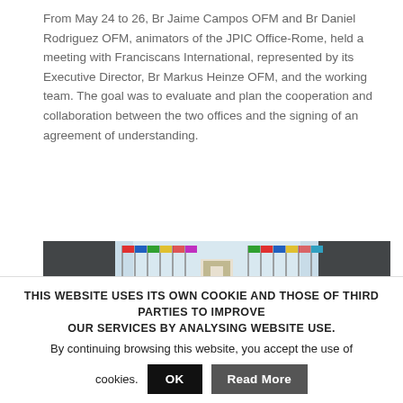From May 24 to 26, Br Jaime Campos OFM and Br Daniel Rodriguez OFM, animators of the JPIC Office-Rome, held a meeting with Franciscans International, represented by its Executive Director, Br Markus Heinze OFM, and the working team. The goal was to evaluate and plan the cooperation and collaboration between the two offices and the signing of an agreement of understanding.
[Figure (photo): Photograph of a building entrance or walkway with rows of international flags on poles on both sides, sky visible in the background.]
THIS WEBSITE USES ITS OWN COOKIE AND THOSE OF THIRD PARTIES TO IMPROVE OUR SERVICES BY ANALYSING WEBSITE USE. By continuing browsing this website, you accept the use of cookies.